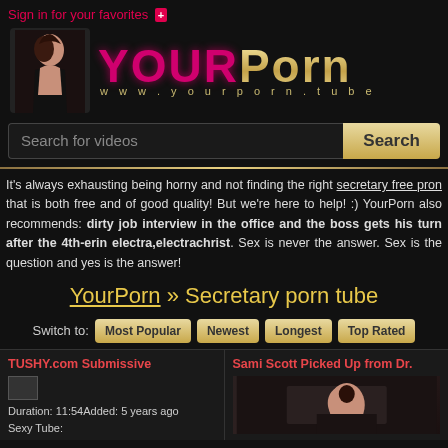Sign in for your favorites +
[Figure (logo): YourPorn website logo with woman figure, pink 'YOUR' and gold 'Porn' text, url www.yourporn.tube]
Search for videos  Search
It's always exhausting being horny and not finding the right secretary free pron that is both free and of good quality! But we're here to help! :) YourPorn also recommends: dirty job interview in the office and the boss gets his turn after the 4th-erin electra,electrachrist. Sex is never the answer. Sex is the question and yes is the answer!
YourPorn » Secretary porn tube
Switch to:  Most Popular  Newest  Longest  Top Rated
TUSHY.com Submissive
Duration: 11:54Added: 5 years ago
Sexy Tube:
Sami Scott Picked Up from Dr.